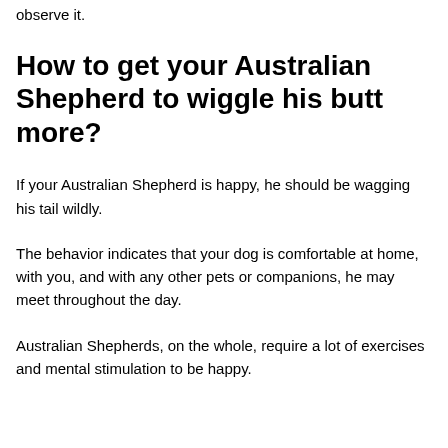observe it.
How to get your Australian Shepherd to wiggle his butt more?
If your Australian Shepherd is happy, he should be wagging his tail wildly.
The behavior indicates that your dog is comfortable at home, with you, and with any other pets or companions, he may meet throughout the day.
Australian Shepherds, on the whole, require a lot of exercises and mental stimulation to be happy.